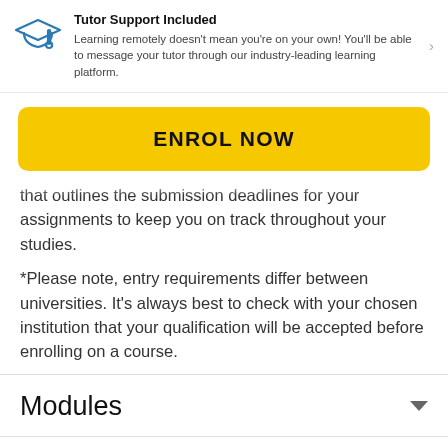[Figure (illustration): Blue mortarboard graduation cap icon]
Tutor Support Included
Learning remotely doesn't mean you're on your own! You'll be able to message your tutor through our industry-leading learning platform.
ENROL NOW
that outlines the submission deadlines for your assignments to keep you on track throughout your studies.
*Please note, entry requirements differ between universities. It's always best to check with your chosen institution that your qualification will be accepted before enrolling on a course.
Modules
Requirements